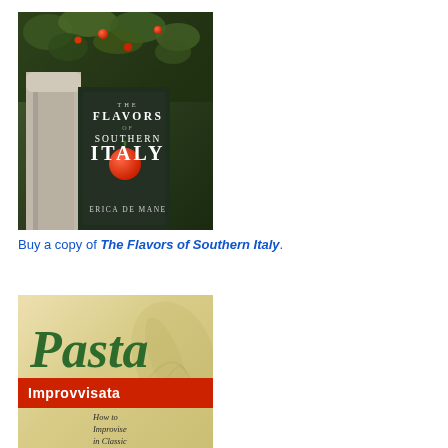[Figure (illustration): Book cover of 'The Flavors of Southern Italy' by Erica De Mane. Features a stone arch doorway covered with green ivy and red berries/tomatoes on a dark background. White text shows the title with 'THE FLAVORS OF SOUTHERN ITALY' in uppercase letters and author name 'ERICA DE MANE' at the bottom.]
Buy a copy of The Flavors of Southern Italy.
[Figure (illustration): Book cover of 'Pasta Improvvisata: How to Improvise in Classic Italian Style'. Beige/tan background with faint leaf watermark. Title 'Pasta' in large green italic script font. Below is a red banner with white bold text 'Improvvisata'. Subtitle text 'How to Improvise in Classic Italian Style' in italic serif font on the right side.]